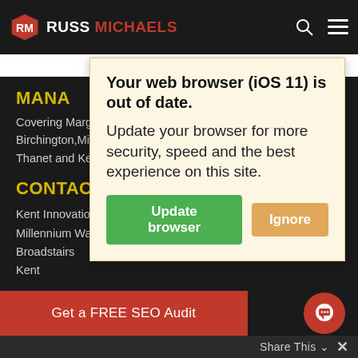[Figure (logo): Russ Michaels logo with RM badge in red hexagonal shape and text 'RUSS MICHAELS' with search and hamburger menu icons]
Your web browser (iOS 11) is out of date. Update your browser for more security, speed and the best experience on this site.
MANA
Covering Margate, Broadstairs, Ramsgate, Westgate, Birchington,Minster, Manston &  surrounding postcodes in Thanet and Kent.
CONTACT
Kent Innovation Center
Millennium Way
Broadstairs
Kent
Get a FREE SEO Audit
Share This ∨